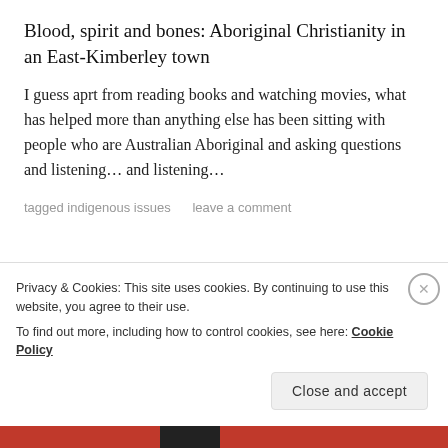Blood, spirit and bones: Aboriginal Christianity in an East-Kimberley town
I guess aprt from reading books and watching movies, what has helped more than anything else has been sitting with people who are Australian Aboriginal and asking questions and listening… and listening…
tagged indigenous issues    leave a comment
Bikes Stolen
Privacy & Cookies: This site uses cookies. By continuing to use this website, you agree to their use.
To find out more, including how to control cookies, see here: Cookie Policy
Close and accept